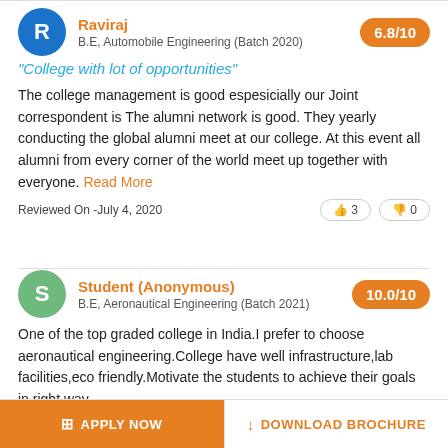Raviraj
B.E, Automobile Engineering (Batch 2020)
6.8/10
"College with lot of opportunities"
The college management is good espesicially our Joint correspondent is The alumni network is good. They yearly conducting the global alumni meet at our college. At this event all alumni from every corner of the world meet up together with everyone. Read More
Reviewed On -July 4, 2020
👍 3   👎 0
Student (Anonymous)
B.E, Aeronautical Engineering (Batch 2021)
10.0/10
One of the top graded college in India.I prefer to choose aeronautical engineering.College have well infrastructure,lab facilities,eco friendly.Motivate the students to achieve their goals in right way. Read More
APPLY NOW
DOWNLOAD BROCHURE